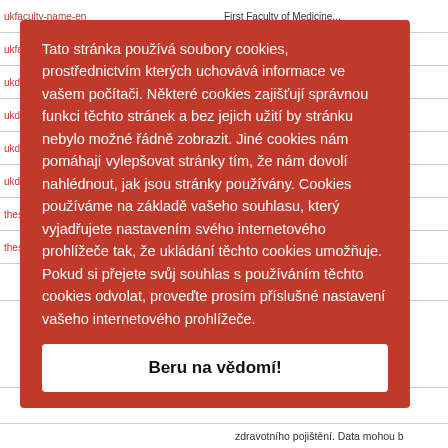[Figure (screenshot): Background of a university web page showing a table with fields like ukfaculty-name-en, ukfaculty-abbrev, ukdegree-discipline-cs, ukdegree-programme-cs, ukdegree-p-cg, thesis-cases, thesis-grade-en, partially visible underneath a red cookie consent overlay.]
Tato stránka používá soubory cookies, prostřednictvím kterých uchovává informace ve vašem počítači. Některé cookies zajišťují správnou funkci těchto stránek a bez jejich užití by stránku nebylo možné řádně zobrazit. Jiné cookies nám pomáhají vylepšovat stránky tím, že nám dovolí nahlédnout, jak jsou stránky používány. Cookies používáme na základě vašeho souhlasu, který vyjadřujete nastavením svého internetového prohlížeče tak, že ukládání těchto cookies umožňuje. Pokud si přejete svůj souhlas s používáním těchto cookies odvolat, proveďte prosím příslušné nastavení vašeho internetového prohlížeče.
Beru na vědomí!
slouží k mnoha účelům, mohou být použity pro diagnostice a terapii, zdravotnická dokumentace obsahuje informace, které mohou být podkladem pro finanční náhrady za ošetření nebo pro čerpání úhrady zdravotního pojištění. Data mohou b